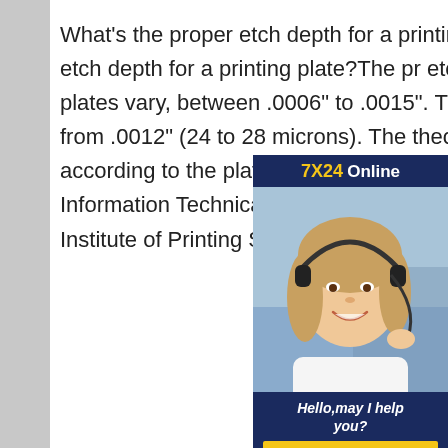What's the proper etch depth for a printing plate?What's the proper etch depth for a printing plate?The proper etch depth for the printing plates vary, between .0006" to .0015". The common etch depths range from .0012" (24 to 28 microns). The theoretical ink lay down will vary according to the plate type, etch depth]Pad Printing 101 Basic Information Technical Bulletin from DECO TECH printing laboratory Institute of Printing Science and Display
[Figure (infographic): Customer service chat widget with '7X24 Online' header in dark navy background with gold text, photo of a smiling woman wearing a headset, and a dark navy footer with 'Hello,may I help you?' in italic white text and a yellow 'Get Latest Price' button.]